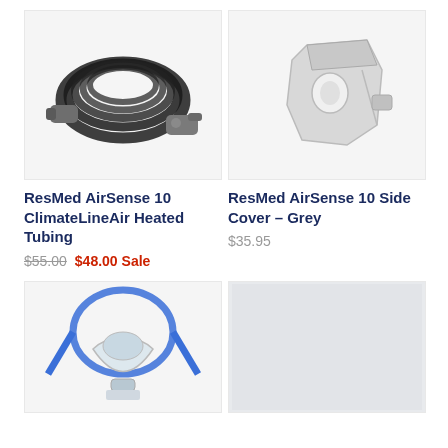[Figure (photo): ResMed AirSense 10 ClimateLineAir Heated Tubing - coiled black heated tube with grey connectors]
[Figure (photo): ResMed AirSense 10 Side Cover in grey color - plastic side cover component]
ResMed AirSense 10 ClimateLineAir Heated Tubing
$55.00 $48.00 Sale
ResMed AirSense 10 Side Cover - Grey
$35.95
[Figure (photo): CPAP full face mask with blue headgear straps - ResMed AirFit mask]
[Figure (photo): Light grey/white blank product image placeholder]